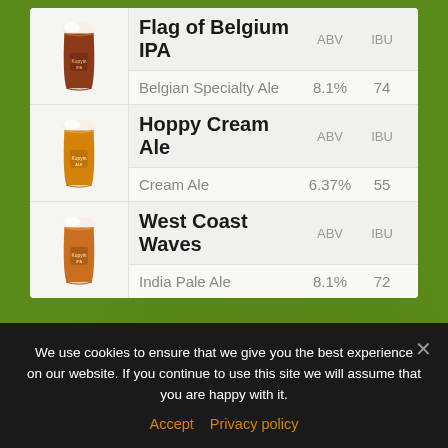| Beer | Name | ABV | IBU |
| --- | --- | --- | --- |
| [image] | Flag of Belgium IPA | ABV | IBU |
|  | Belgian Specialty Ale | 8.1% | 74 |
| [image] | Hoppy Cream Ale | ABV | IBU |
|  | Cream Ale | 6.37% | 55 |
| [image] | West Coast Waves | ABV | IBU |
|  | India Pale Ale | 8.1% | 72 |
We use cookies to ensure that we give you the best experience on our website. If you continue to use this site we will assume that you are happy with it.
Accept   Privacy policy